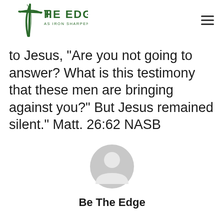THE EDGE — AS IRON SHARPENS IRON
to Jesus, “Are you not going to answer? What is this testimony that these men are bringing against you?” But Jesus remained silent.” Matt. 26:62 NASB
[Figure (illustration): Generic user avatar icon — a grey circle with a silhouette of a person (head and shoulders)]
Be The Edge